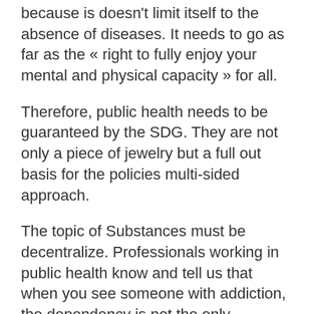because is doesn't limit itself to the absence of diseases. It needs to go as far as the « right to fully enjoy your mental and physical capacity » for all.
Therefore, public health needs to be guaranteed by the SDG. They are not only a piece of jewelry but a full out basis for the policies multi-sided approach.
The topic of Substances must be decentralize. Professionals working in public health know and tell us that when you see someone with addiction, the dependency is not the only problem. Other faces are important : we need to take care of that.
So yes, we need to try to warn about drugs,